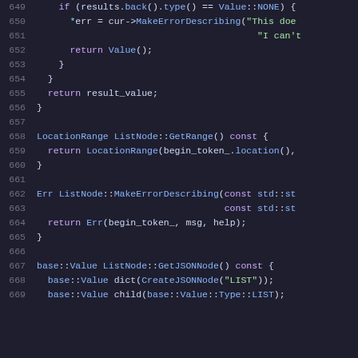[Figure (screenshot): Source code editor screenshot showing C++ code lines 648-669 with syntax highlighting on dark background. Code includes functions for ListNode::GetRange(), ListNode::MakeErrorDescribing(), and ListNode::GetJSONNode() with colored syntax.]